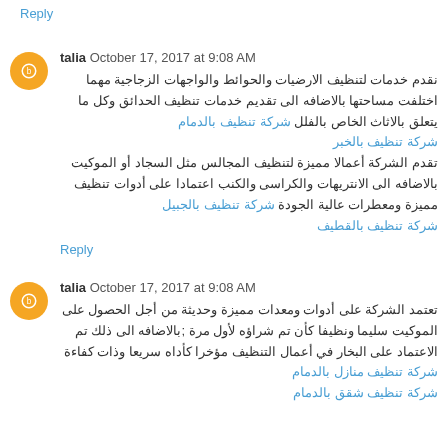Reply
talia October 17, 2017 at 9:08 AM
نقدم خدمات لتنظيف الارضيات والحوائط والواجهات الزجاجية مهما اختلفت مساحتها بالاضافه الى تقديم خدمات تنظيف الحدائق وكل ما يتعلق بالاثاث الخاص بالفلل شركة تنظيف بالدمام
شركة تنظيف بالخبر
تقدم الشركة أعمالا مميزة لتنظيف المجالس مثل السجاد أو الموكيت بالاضافه الى الانتريهات والكراسى والكنب اعتمادا على أدوات تنظيف مميزة ومعطرات عالية الجودة شركة تنظيف بالجبيل
شركة تنظيف بالقطيف
Reply
talia October 17, 2017 at 9:08 AM
تعتمد الشركة على أدوات ومعدات مميزة وحديثة من أجل الحصول على الموكيت سليما ونظيفا كأن تم شراؤه لأول مرة ;بالاضافه الى ذلك تم الاعتماد على البخار في أعمال التنظيف مؤخرا كأداه سريعا وذات كفاءة شركة تنظيف منازل بالدمام
شركة تنظيف شقق بالدمام